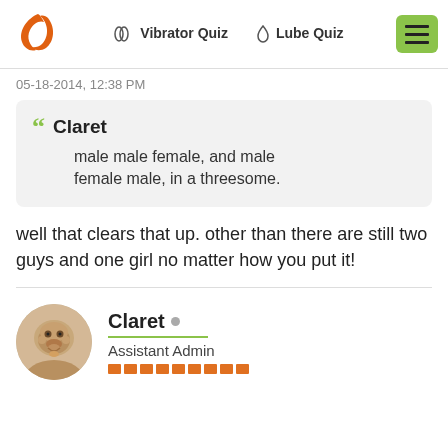Vibrator Quiz | Lube Quiz
05-18-2014, 12:38 PM
Claret
male male female, and male female male, in a threesome.
well that clears that up. other than there are still two guys and one girl no matter how you put it!
Claret • Assistant Admin